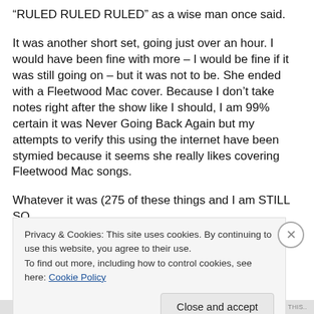“RULED RULED RULED” as a wise man once said.
It was another short set, going just over an hour. I would have been fine with more – I would be fine if it was still going on – but it was not to be. She ended with a Fleetwood Mac cover. Because I don’t take notes right after the show like I should, I am 99% certain it was Never Going Back Again but my attempts to verify this using the internet have been stymied because it seems she really likes covering Fleetwood Mac songs.
Whatever it was (275 of these things and I am STILL SO
Privacy & Cookies: This site uses cookies. By continuing to use this website, you agree to their use.
To find out more, including how to control cookies, see here: Cookie Policy
Close and accept